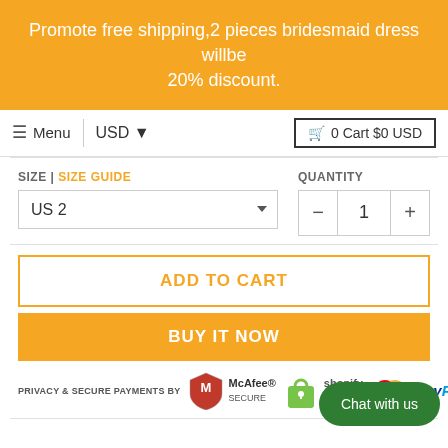Promote free shipping,2 pieces bridesmaid dress willbe 20% discount.
≡ Menu | USD ▾   🛒 0 Cart $0 USD
SIZE | SIZE GUIDE
QUANTITY
US 2
- 1 +
ADD TO CART
BUY IT NOW
PRIVACY & SECURE PAYMENTS BY
[Figure (logo): McAfee Secure badge, Shopify Secure badge, Mastercard logo, PayPal logo]
Chat with us